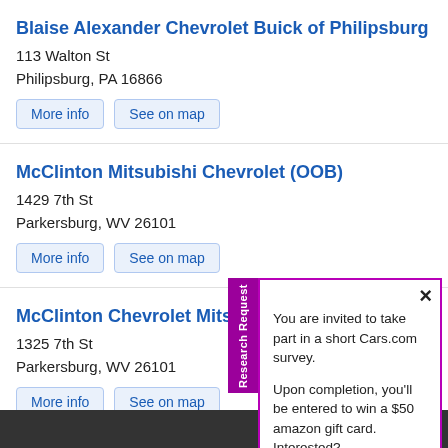Blaise Alexander Chevrolet Buick of Philipsburg
113 Walton St
Philipsburg, PA 16866
More info   See on map
McClinton Mitsubishi Chevrolet (OOB)
1429 7th St
Parkersburg, WV 26101
More info   See on map
McClinton Chevrolet Mits
1325 7th St
Parkersburg, WV 26101
More info   See on map
Spitzer Chevrolet of Amhers
200 N Leavitt Rd
Amherst, OH 44001
[Figure (screenshot): Survey popup overlay with purple border and 'Research Request' tab. Text: 'You are invited to take part in a short Cars.com survey. Upon completion, you’ll be entered to win a $50 amazon gift card. Interested?' with 'Click here to participate' link.]